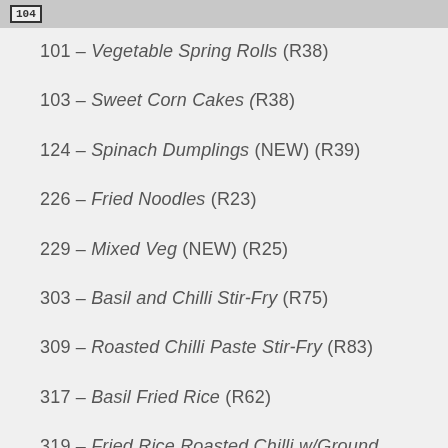[Figure (photo): Top portion of a food photo with item number 104 label box visible]
101 – Vegetable Spring Rolls (R38)
103 – Sweet Corn Cakes (R38)
124 – Spinach Dumplings (NEW) (R39)
226 – Fried Noodles (R23)
229 – Mixed Veg (NEW) (R25)
303 – Basil and Chilli Stir-Fry (R75)
309 – Roasted Chilli Paste Stir-Fry (R83)
317 – Basil Fried Rice (R62)
319 – Fried Rice Roasted Chilli w/Ground Cashews (R65)